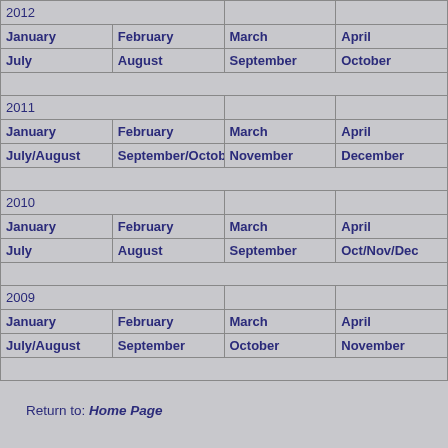| 2012 |  |  |  |
| January | February | March | April |
| July | August | September | October |
| (spacer) |  |  |  |
| 2011 |  |  |  |
| January | February | March | April |
| July/August | September/October | November | December |
| (spacer) |  |  |  |
| 2010 |  |  |  |
| January | February | March | April |
| July | August | September | Oct/Nov/Dec |
| (spacer) |  |  |  |
| 2009 |  |  |  |
| January | February | March | April |
| July/August | September | October | November |
| (spacer) |  |  |  |
Return to: Home Page